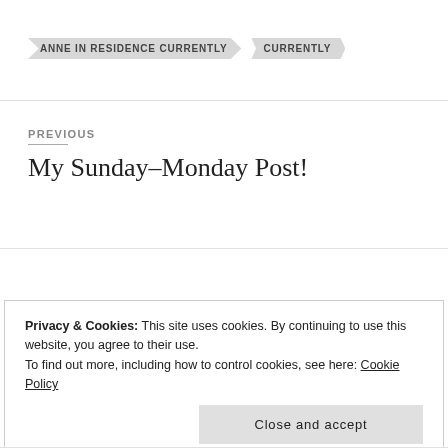ANNE IN RESIDENCE CURRENTLY   CURRENTLY
PREVIOUS
My Sunday–Monday Post!
NEXT
Winter Hikes
Privacy & Cookies: This site uses cookies. By continuing to use this website, you agree to their use.
To find out more, including how to control cookies, see here: Cookie Policy
Close and accept